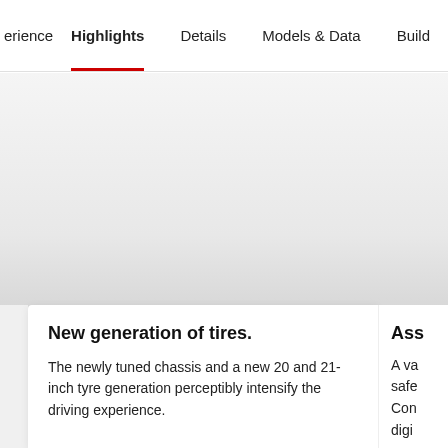experience  Highlights  Details  Models & Data  Build
[Figure (photo): Large vehicle/car image area, shown as light grey placeholder background]
New generation of tires.
The newly tuned chassis and a new 20 and 21-inch tyre generation perceptibly intensify the driving experience.
Ass
A va safe Con digi